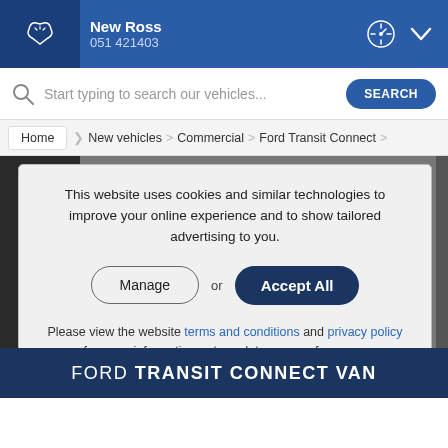New Ross 051 421403
Start typing to search our vehicles...
Home > New vehicles > Commercial > Ford Transit Connect >
This website uses cookies and similar technologies to improve your online experience and to show tailored advertising to you.
Manage or Accept All
Please view the website terms and conditions and privacy policy for more information or to update your preferences.
FORD TRANSIT CONNECT VAN